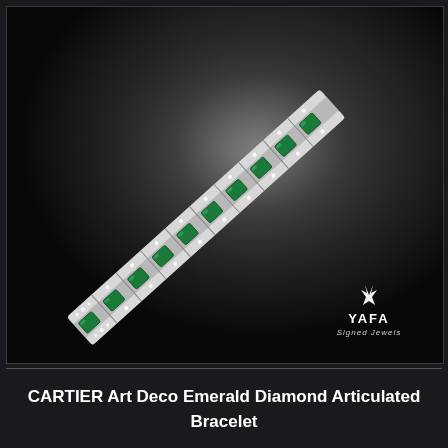[Figure (photo): A Cartier Art Deco Emerald and Diamond Articulated Bracelet photographed against a dark radial gradient background. The bracelet is shown diagonally from lower-left to upper-right, featuring alternating emerald-cut green emeralds and pavé-set round diamonds in a platinum or white gold setting. A 'YAFA Signed Jewels' logo with a fleur-de-lis style icon appears in the lower-right corner of the image.]
CARTIER Art Deco Emerald Diamond Articulated Bracelet